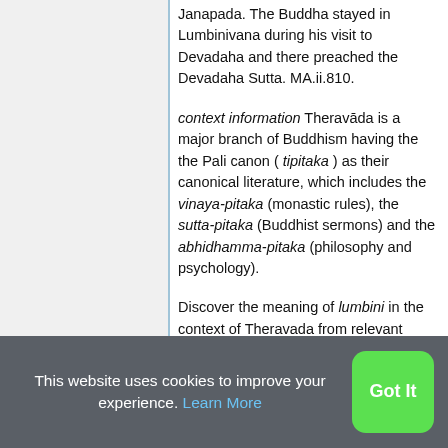Janapada. The Buddha stayed in Lumbinivana during his visit to Devadaha and there preached the Devadaha Sutta. MA.ii.810.
context information Theravāda is a major branch of Buddhism having the the Pali canon ( tipitaka ) as their canonical literature, which includes the vinaya-pitaka (monastic rules), the sutta-pitaka (Buddhist sermons) and the abhidhamma-pitaka (philosophy and psychology).
Discover the meaning of lumbini in the context of Theravada from relevant
This website uses cookies to improve your experience. Learn More